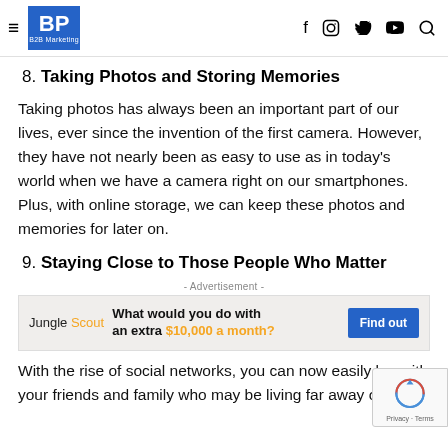BP B2B Marketing
8. Taking Photos and Storing Memories
Taking photos has always been an important part of our lives, ever since the invention of the first camera. However, they have not nearly been as easy to use as in today’s world when we have a camera right on our smartphones. Plus, with online storage, we can keep these photos and memories for later on.
9. Staying Close to Those People Who Matter
- Advertisement -
[Figure (screenshot): Jungle Scout advertisement banner: 'What would you do with an extra $10,000 a month?' with a Find out button]
With the rise of social networks, you can now easily k... with your friends and family who may be living far away or